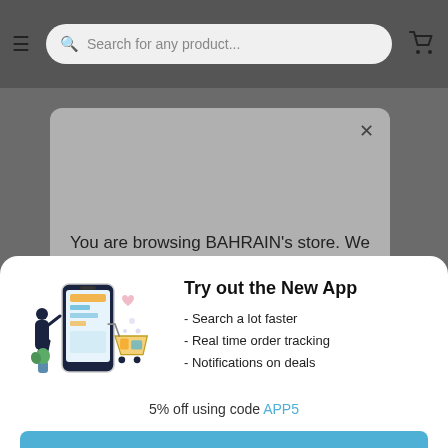[Figure (screenshot): Mobile app navigation bar with hamburger menu, search bar ('Search for any product...'), and shopping cart icon on a dark grey background]
You are browsing BAHRAIN's store. We have a store for UNITED STATES. Visit your country
Try out the New App
- Search a lot faster
- Real time order tracking
- Notifications on deals
5% off using code APP5
Open on the App
Continue in Browser